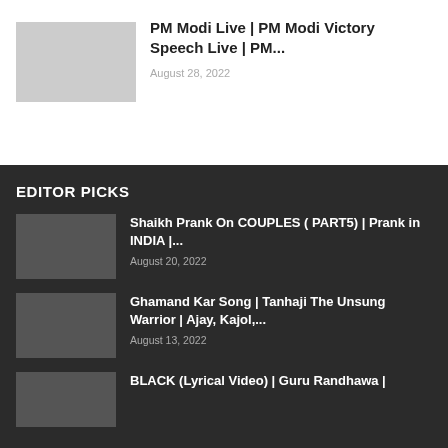PM Modi Live | PM Modi Victory Speech Live | PM...
August 28, 2022
EDITOR PICKS
Shaikh Prank On COUPLES ( PART5) | Prank in INDIA |...
August 20, 2022
Ghamand Kar Song | Tanhaji The Unsung Warrior | Ajay, Kajol,...
August 13, 2022
BLACK (Lyrical Video) | Guru Randhawa |